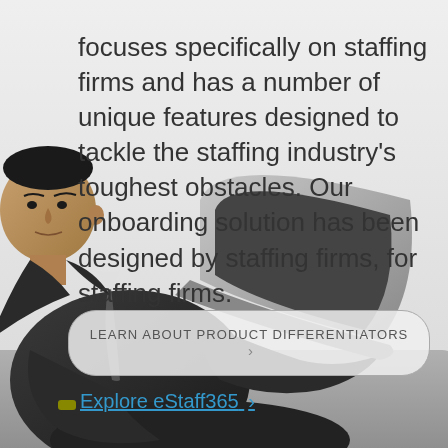focuses specifically on staffing firms and has a number of unique features designed to tackle the staffing industry's toughest obstacles. Our onboarding solution has been designed by staffing firms, for staffing firms.
LEARN ABOUT PRODUCT DIFFERENTIATORS >
Explore eStaff365 ›
[Figure (photo): A businessman in a dark suit sitting on a grey couch using a silver laptop computer, photographed from a low angle against a light grey background.]